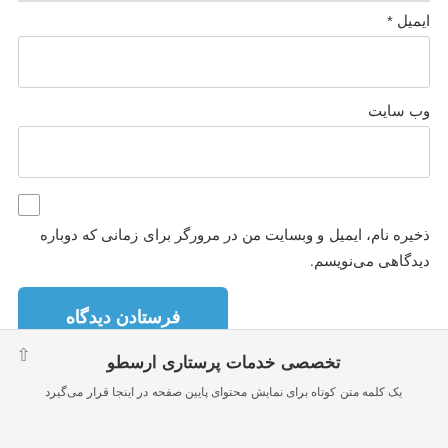ایمیل *
وب سایت
ذخیره نام، ایمیل و وبسایت من در مرورگر برای زمانی که دوباره دیدگاهی می‌نویسم.
فرستادن دیدگاه
تخصصی خدمات پرستاری ارسطو